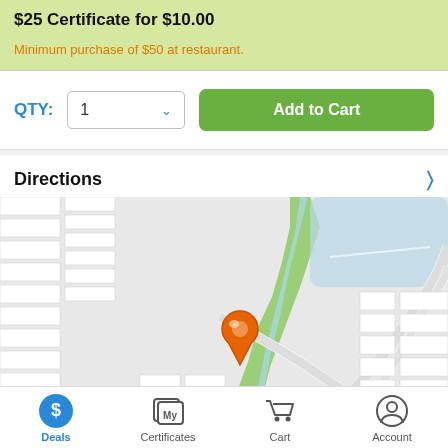$25 Certificate for $10.00
Minimum purchase of $50 at restaurant.
QTY: 1  Add to Cart
Directions
[Figure (map): Street map with an orange location pin marker in the center, showing nearby roads, a green park/green area, and a light blue water body in the upper right. Map shows urban block grid layout.]
Deals  Certificates  Cart  Account